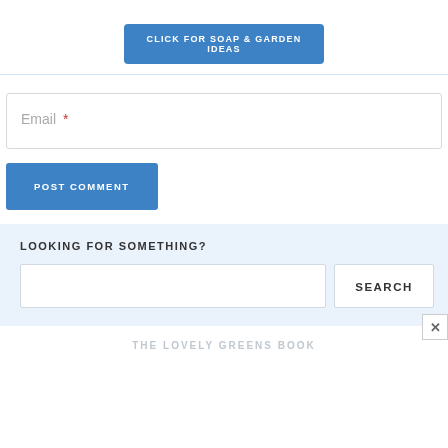[Figure (screenshot): Blue button with white text: CLICK FOR SOAP & GARDEN IDEAS]
Email *
[Figure (screenshot): Blue POST COMMENT button]
LOOKING FOR SOMETHING?
[Figure (screenshot): Search input field and SEARCH button]
THE LOVELY GREENS BOOK